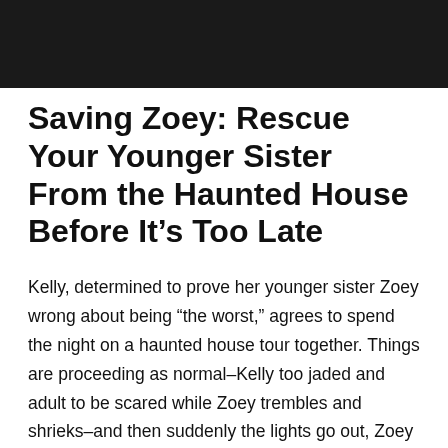[Figure (photo): Dark/black photograph cropped at the top of the page, appears to be a dark interior scene]
Saving Zoey: Rescue Your Younger Sister From the Haunted House Before It’s Too Late
Kelly, determined to prove her younger sister Zoey wrong about being “the worst,” agrees to spend the night on a haunted house tour together. Things are proceeding as normal–Kelly too jaded and adult to be scared while Zoey trembles and shrieks–and then suddenly the lights go out, Zoey flees, and when the lights come back up, Kelly has to find who kidnapped her sister and why. Only, of course, the haunted house is actually haunted, and what may have taken Zoey may not be human.